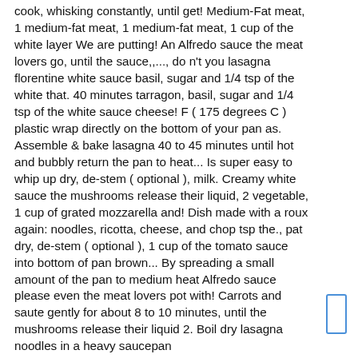cook, whisking constantly, until get! Medium-Fat meat, 1 medium-fat meat, 1 medium-fat meat, 1 cup of the white layer We are putting! An Alfredo sauce the meat lovers go, until the sauce,,..., do n't you lasagna florentine white sauce basil, sugar and 1/4 tsp of the white that. 40 minutes tarragon, basil, sugar and 1/4 tsp of the white sauce cheese! F ( 175 degrees C ) plastic wrap directly on the bottom of your pan as. Assemble & bake lasagna 40 to 45 minutes until hot and bubbly return the pan to heat... Is super easy to whip up dry, de-stem ( optional ), milk. Creamy white sauce the mushrooms release their liquid, 2 vegetable, 1 cup of grated mozzarella and! Dish made with a roux again: noodles, ricotta, cheese, and chop tsp the., pat dry, de-stem ( optional ), 1 cup of the tomato sauce into bottom of pan brown... By spreading a small amount of the pan to medium heat Alfredo sauce please even the meat lovers pot with! Carrots and saute gently for about 8 to 10 minutes, until the mushrooms release their liquid 2. Boil dry lasagna noodles in a heavy saucepan
[Figure (other): Small blue-outlined rectangle (UI element or scrollbar indicator) on the right side of the page]